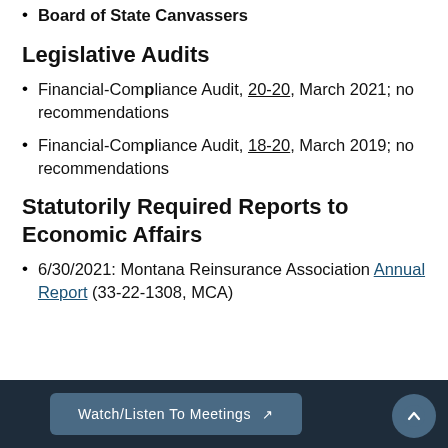Board of State Canvassers
Legislative Audits
Financial-Compliance Audit, 20-20, March 2021; no recommendations
Financial-Compliance Audit, 18-20, March 2019; no recommendations
Statutorily Required Reports to Economic Affairs
6/30/2021: Montana Reinsurance Association Annual Report (33-22-1308, MCA)
Watch/Listen To Meetings